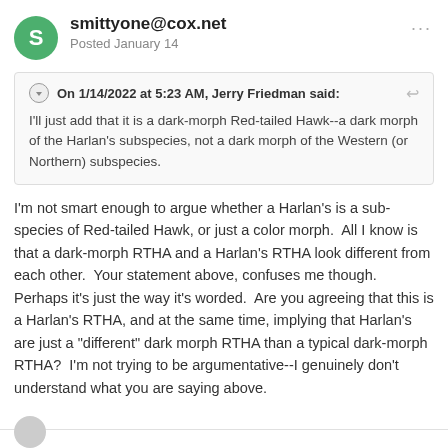smittyone@cox.net — Posted January 14
On 1/14/2022 at 5:23 AM, Jerry Friedman said: I'll just add that it is a dark-morph Red-tailed Hawk--a dark morph of the Harlan's subspecies, not a dark morph of the Western (or Northern) subspecies.
I'm not smart enough to argue whether a Harlan's is a sub-species of Red-tailed Hawk, or just a color morph.  All I know is that a dark-morph RTHA and a Harlan's RTHA look different from each other.  Your statement above, confuses me though. Perhaps it's just the way it's worded.  Are you agreeing that this is a Harlan's RTHA, and at the same time, implying that Harlan's are just a "different" dark morph RTHA than a typical dark-morph RTHA?  I'm not trying to be argumentative--I genuinely don't understand what you are saying above.